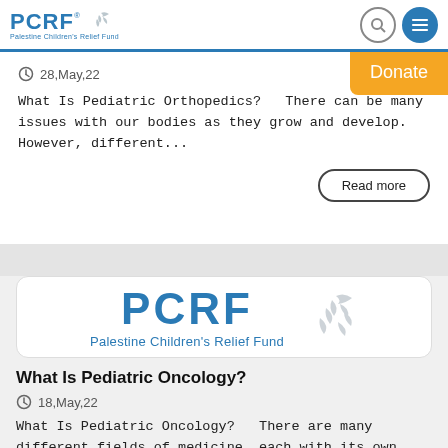PCRF Palestine Children's Relief Fund
28,May,22
What Is Pediatric Orthopedics?   There can be many issues with our bodies as they grow and develop. However, different...
Read more
[Figure (logo): PCRF Palestine Children's Relief Fund logo with bird graphic]
What Is Pediatric Oncology?
18,May,22
What Is Pediatric Oncology?   There are many different fields of medicine, each with its own specializations. This is t...